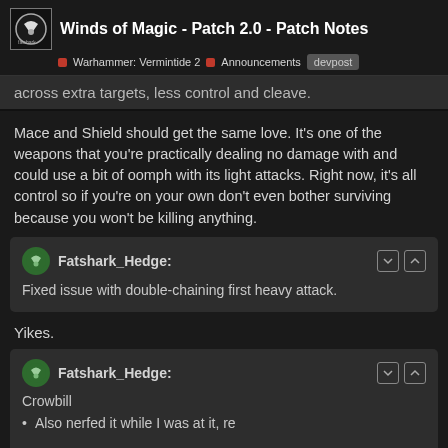Winds of Magic - Patch 2.0 - Patch Notes | Warhammer: Vermintide 2 | Announcements | devpost
across extra targets, less control and cleave.
Mace and Shield should get the same love. It’s one of the weapons that you’re practically dealing no damage with and could use a bit of oomph with its light attacks. Right now, it’s all control so if you’re on your own don’t even bother surviving because you won’t be killing anything.
Fatshark_Hedge:
Fixed issue with double-chaining first heavy attack.
Yikes.
Fatshark_Hedge:
Crowbill
• Also nerfed it while I was at it, re[...]
by 5% ...